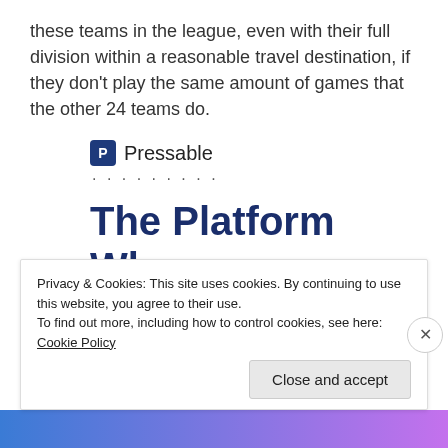these teams in the league, even with their full division within a reasonable travel destination, if they don't play the same amount of games that the other 24 teams do.
[Figure (logo): Pressable logo with blue 'P' icon and the text 'Pressable']
The Platform Where WordPress Works Best
SEE PRICING
Privacy & Cookies: This site uses cookies. By continuing to use this website, you agree to their use.
To find out more, including how to control cookies, see here: Cookie Policy
Close and accept